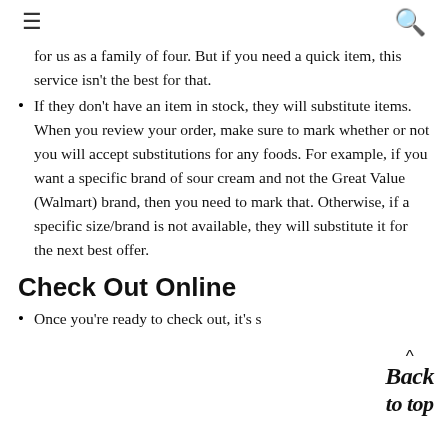≡  🔍
for us as a family of four. But if you need a quick item, this service isn't the best for that.
If they don't have an item in stock, they will substitute items. When you review your order, make sure to mark whether or not you will accept substitutions for any foods. For example, if you want a specific brand of sour cream and not the Great Value (Walmart) brand, then you need to mark that. Otherwise, if a specific size/brand is not available, they will substitute it for the next best offer.
Check Out Online
Once you're ready to check out, it's s